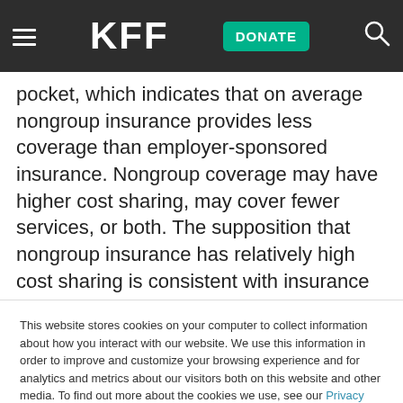KFF — DONATE
pocket, which indicates that on average nongroup insurance provides less coverage than employer-sponsored insurance. Nongroup coverage may have higher cost sharing, may cover fewer services, or both. The supposition that nongroup insurance has relatively high cost sharing is consistent with insurance industry surveys which indicate deductible levels
This website stores cookies on your computer to collect information about how you interact with our website. We use this information in order to improve and customize your browsing experience and for analytics and metrics about our visitors both on this website and other media. To find out more about the cookies we use, see our Privacy Policy.
Accept